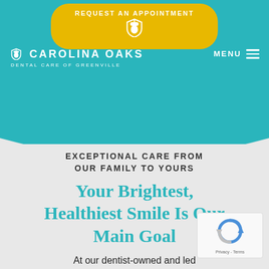[Figure (screenshot): Dental practice website header with teal background, yellow appointment button, acorn/shield logo, and navigation menu]
REQUEST AN APPOINTMENT
[Figure (logo): Carolina Oaks Dental Care of Greenville logo with acorn shield icon in white on teal background]
MENU
EXCEPTIONAL CARE FROM OUR FAMILY TO YOURS
Your Brightest, Healthiest Smile Is Our Main Goal
At our dentist-owned and led practice, we're proud to deliver